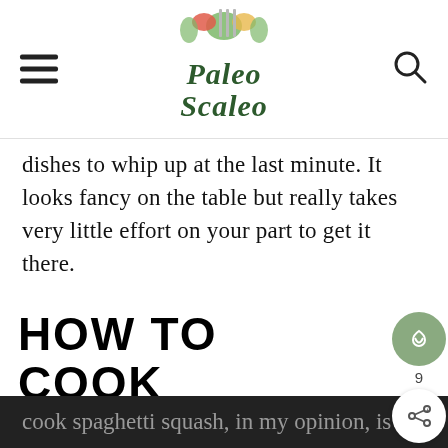[Figure (logo): Paleo Scaleo website header with decorative vegetable/fork illustration and cursive script logo text]
dishes to whip up at the last minute. It looks fancy on the table but really takes very little effort on your part to get it there.
HOW TO COOK SPAGHETTI SQUASH
First things first, we have to start with our spaghetti squash. The easiest way to cook spaghetti squash, in my opinion, is